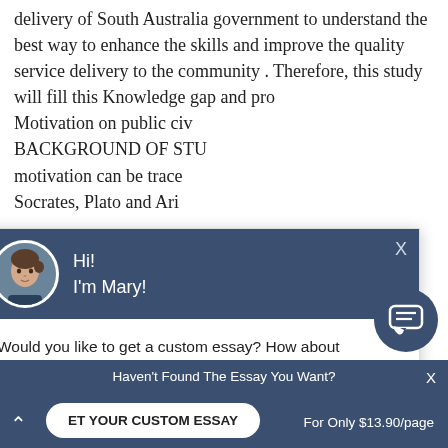delivery of South Australia government to understand the best way to enhance the skills and improve the quality service delivery to the community . Therefore, this study will fill this Knowledge gap and pro... Motivation on public civ... BACKGROUND OF STU... motivation can be trace... Socrates, Plato and Ari... Plato believed in a hier... dietary component, the... Aristotle, for more than... affirm the hierarchy spi... different reforms which were different from his...
[Figure (screenshot): Chat popup overlay with avatar of a woman, greeting 'Hi! I'm Mary!', body text 'Would you like to get a custom essay? How about receiving a customized one?' with a 'Check it out' link, and a circular chat icon button.]
Haven't Found The Essay You Want?
ET YOUR CUSTOM ESSAY    For Only $13.90/page